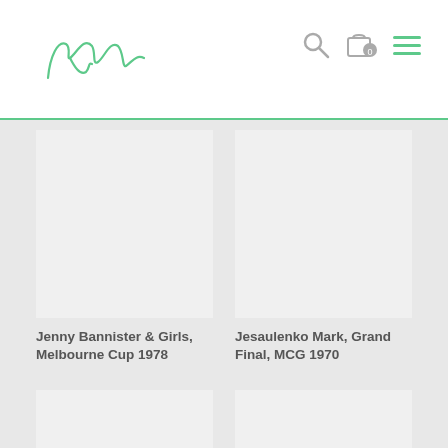RodMu logo with search, cart, and menu icons
[Figure (photo): Blank/white product image placeholder for Jenny Bannister & Girls, Melbourne Cup 1978]
Jenny Bannister & Girls, Melbourne Cup 1978
[Figure (photo): Blank/white product image placeholder for Jesaulenko Mark, Grand Final, MCG 1970]
Jesaulenko Mark, Grand Final, MCG 1970
[Figure (photo): Blank/white product image placeholder (bottom left)]
[Figure (photo): Blank/white product image placeholder (bottom right)]